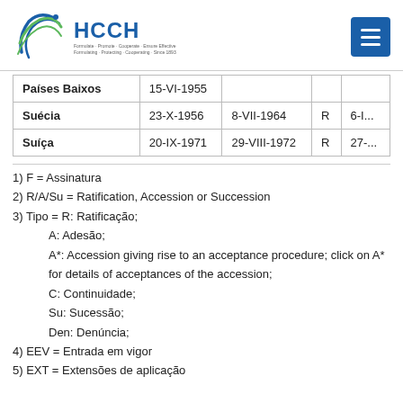HCCH
| País | Data de Assinatura | R/A/Su | Tipo | EEV |
| --- | --- | --- | --- | --- |
| Países Baixos | 15-VI-1955 |  |  |  |
| Suécia | 23-X-1956 | 8-VII-1964 | R | 6-... |
| Suíça | 20-IX-1971 | 29-VIII-1972 | R | 27-... |
1) F = Assinatura
2) R/A/Su = Ratification, Accession or Succession
3) Tipo = R: Ratificação;
    A: Adesão;
    A*: Accession giving rise to an acceptance procedure; click on A* for details of acceptances of the accession;
    C: Continuidade;
    Su: Sucessão;
    Den: Denúncia;
4) EEV = Entrada em vigor
5) EXT = Extensões de aplicação